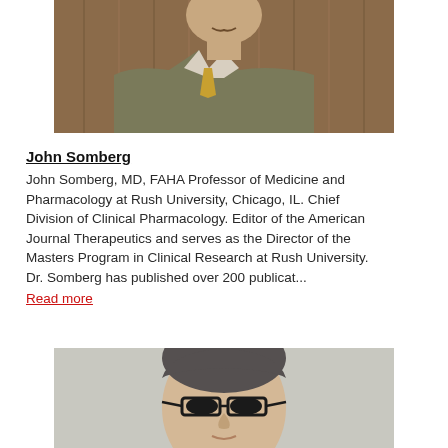[Figure (photo): Portrait photo of John Somberg, a man in a suit with yellow tie, cropped to show chest and below chin, brown wood-paneled background]
John Somberg
John Somberg, MD, FAHA Professor of Medicine and Pharmacology at Rush University, Chicago, IL. Chief Division of Clinical Pharmacology. Editor of the American Journal Therapeutics and serves as the Director of the Masters Program in Clinical Research at Rush University. Dr. Somberg has published over 200 publicat...
Read more
[Figure (photo): Portrait photo of a person with dark grey hair and glasses, cropped close on the face, light background]